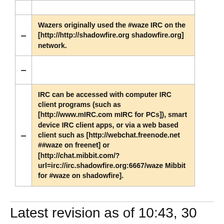Wazers originally used the #waze IRC on the [http://http://shadowfire.org shadowfire.org] network.
IRC can be accessed with computer IRC client programs (such as [http://www.mIRC.com mIRC for PCs]), smart device IRC client apps, or via a web based client such as [http://webchat.freenode.net ##waze on freenet] or [http://chat.mibbit.com/?url=irc://irc.shadowfire.org:6667/waze Mibbit for #waze on shadowfire].
Latest revision as of 10:43, 30 November